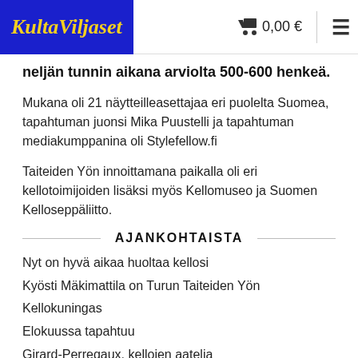KultaViljaset | 0,00 €
neljän tunnin aikana arviolta 500-600 henkeä.
Mukana oli 21 näytteilleasettajaa eri puolelta Suomea, tapahtuman juonsi Mika Puustelli ja tapahtuman mediakumppanina oli Stylefellow.fi
Taiteiden Yön innoittamana paikalla oli eri kellotoimijoiden lisäksi myös Kellomuseo ja Suomen Kelloseppäliitto.
AJANKOHTAISTA
Nyt on hyvä aikaa huoltaa kellosi
Kyösti Mäkimattila on Turun Taiteiden Yön Kellokuningas
Elokuussa tapahtuu
Girard-Perreqaux, kellojen aatelia